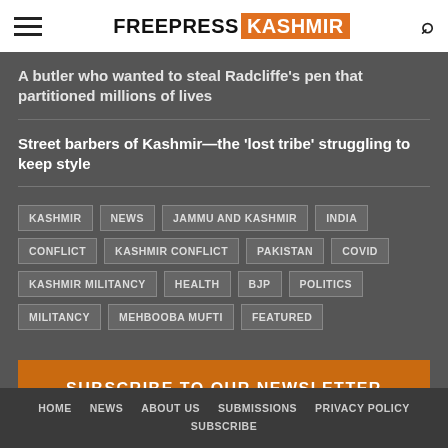FREEPRESS KASHMIR
A butler who wanted to steal Radcliffe's pen that partitioned millions of lives
Street barbers of Kashmir—the 'lost tribe' struggling to keep style
KASHMIR
NEWS
JAMMU AND KASHMIR
INDIA
CONFLICT
KASHMIR CONFLICT
PAKISTAN
COVID
KASHMIR MILITANCY
HEALTH
BJP
POLITICS
MILITANCY
MEHBOOBA MUFTI
FEATURED
SUBSCRIBE TO OUR NEWSLETTER
HOME   NEWS   ABOUT US   SUBMISSIONS   PRIVACY POLICY   SUBSCRIBE